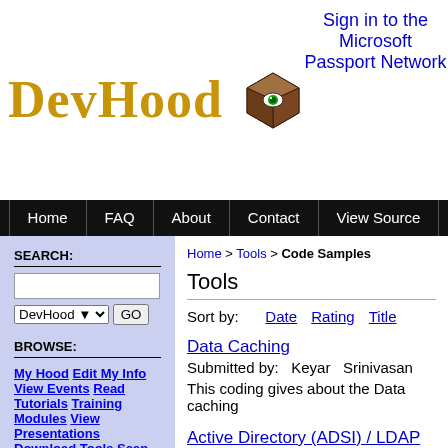DevHood
Sign in to the Microsoft Passport Network
Home | FAQ | About | Contact | View Source
SEARCH:
BROWSE:
My Hood
Edit My Info
View Events
Read Tutorials
Training Modules
View Presentations
Download Tools
Scan News
Home > Tools > Code Samples
Tools
Sort by:   Date   Rating   Title
Data Caching
Submitted by:   Keyar  Srinivasan

This coding gives about the Data caching
Active Directory (ADSI) / LDAP Broswer +
Submitted by:   Chintan  Wala

Active Directory Broswer with TreeView and